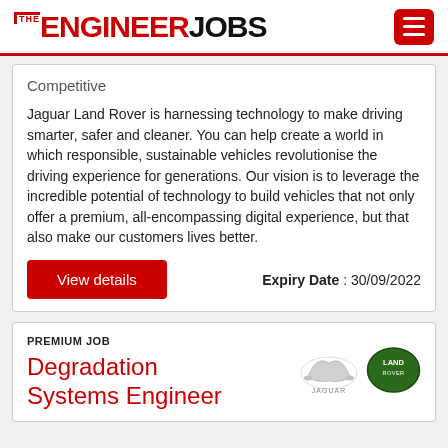THE ENGINEER JOBS
Competitive
Jaguar Land Rover is harnessing technology to make driving smarter, safer and cleaner. You can help create a world in which responsible, sustainable vehicles revolutionise the driving experience for generations. Our vision is to leverage the incredible potential of technology to build vehicles that not only offer a premium, all-encompassing digital experience, but that also make our customers lives better.
Expiry Date : 30/09/2022
View details
PREMIUM JOB
Degradation Systems Engineer